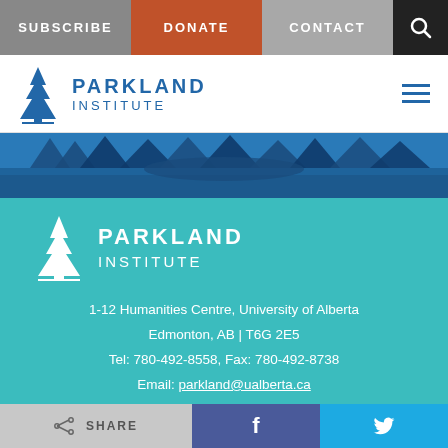SUBSCRIBE | DONATE | CONTACT | Search
[Figure (logo): Parkland Institute logo with tree icon and text PARKLAND INSTITUTE in blue, with hamburger menu icon]
[Figure (photo): Blue-toned landscape photo showing trees and water in a foggy/misty setting]
[Figure (logo): Parkland Institute logo in white on teal background]
1-12 Humanities Centre, University of Alberta
Edmonton, AB | T6G 2E5
Tel: 780-492-8558, Fax: 780-492-8738
Email: parkland@ualberta.ca
Careers at Parkland Institute
Feedback
Privacy Policy
SHARE | Facebook | Twitter